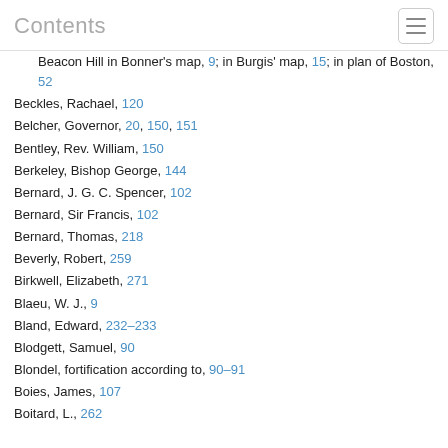Contents
Beacon Hill in Bonner's map, 9; in Burgis' map, 15; in plan of Boston, 52
Beckles, Rachael, 120
Belcher, Governor, 20, 150, 151
Bentley, Rev. William, 150
Berkeley, Bishop George, 144
Bernard, J. G. C. Spencer, 102
Bernard, Sir Francis, 102
Bernard, Thomas, 218
Beverly, Robert, 259
Birkwell, Elizabeth, 271
Blaeu, W. J., 9
Bland, Edward, 232–233
Blodgett, Samuel, 90
Blondel, fortification according to, 90–91
Boies, James, 107
Boitard, L., 262